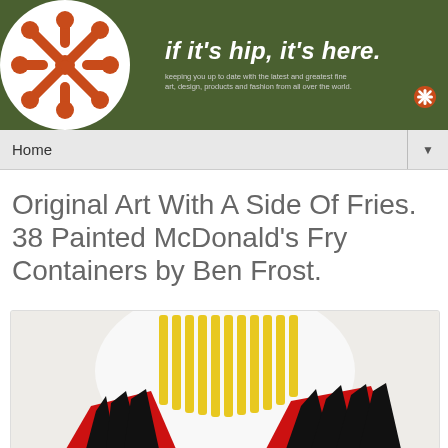[Figure (logo): If It's Hip It's Here website header banner with orange retro snowflake logo on white circle against dark olive green background, tagline 'if it's hip, it's here.' with subtitle text]
Home ▼
Original Art With A Side Of Fries. 38 Painted McDonald's Fry Containers by Ben Frost.
[Figure (photo): Artwork showing painted McDonald's fry containers by Ben Frost — yellow vertical stripes on white oval/circle with red and black patterned fry container shapes visible at bottom]